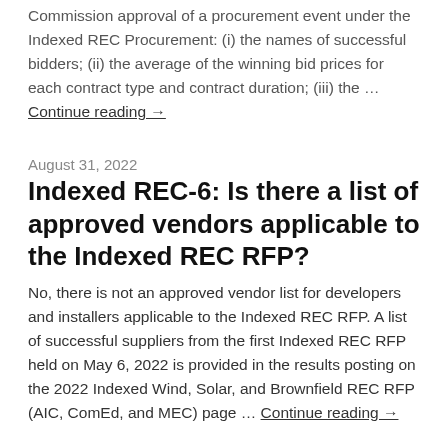Commission approval of a procurement event under the Indexed REC Procurement: (i) the names of successful bidders; (ii) the average of the winning bid prices for each contract type and contract duration; (iii) the … Continue reading →
August 31, 2022
Indexed REC-6: Is there a list of approved vendors applicable to the Indexed REC RFP?
No, there is not an approved vendor list for developers and installers applicable to the Indexed REC RFP.  A list of successful suppliers from the first Indexed REC RFP held on May 6, 2022 is provided in the results posting on the 2022 Indexed Wind, Solar, and Brownfield REC RFP (AIC, ComEd, and MEC) page … Continue reading →